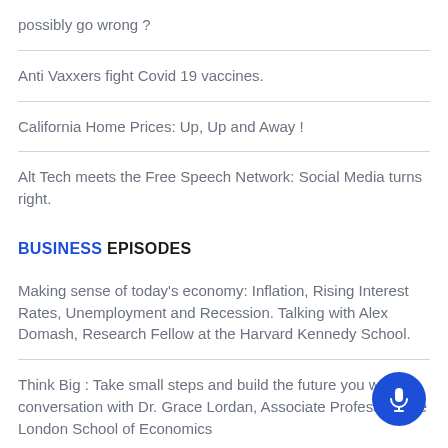possibly go wrong ?
Anti Vaxxers fight Covid 19 vaccines.
California Home Prices: Up, Up and Away !
Alt Tech meets the Free Speech Network: Social Media turns right.
BUSINESS EPISODES
Making sense of today's economy: Inflation, Rising Interest Rates, Unemployment and Recession. Talking with Alex Domash, Research Fellow at the Harvard Kennedy School.
Think Big : Take small steps and build the future you want. In conversation with Dr. Grace Lordan, Associate Professor, The London School of Economics
See all →